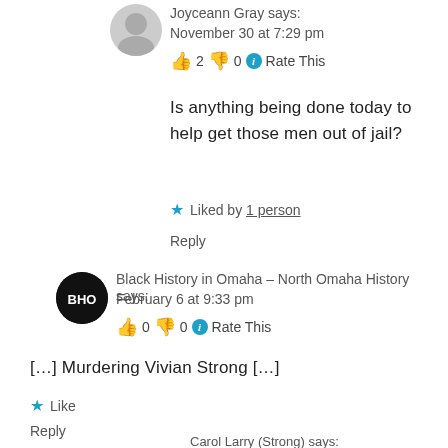Joyceann Gray says: November 30 at 7:29 pm
👍 2 👎 0 ℹ Rate This
Is anything being done today to help get those men out of jail?
★ Liked by 1 person
Reply
Black History in Omaha – North Omaha History says: February 6 at 9:33 pm
👍 0 👎 0 ℹ Rate This
[…] Murdering Vivian Strong […]
★ Like
Reply
Carol Larry (Strong) says: